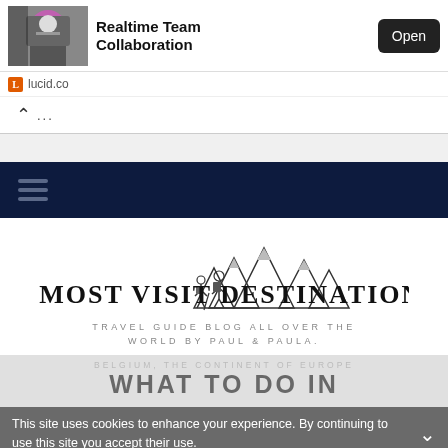[Figure (screenshot): Advertisement banner for Lucid - Realtime Team Collaboration with an Open button]
lucid.co
[Figure (screenshot): Collapse/minimize arrow with ellipsis]
[Figure (screenshot): Dark navy navigation bar with hamburger menu icon]
[Figure (logo): Most Visit Destinations travel blog logo with hikers and mountain silhouette]
TRAVEL GUIDE BLOG ALL OVER THE WORLD BY PAUL & PAULA.
BELGIUM, THE CONTINENT OF EUROPE
WHAT TO DO IN
This site uses cookies to enhance your experience. By continuing to use this site you accept their use.
[Figure (screenshot): Social sharing bar with Twitter, Facebook, Email, WhatsApp, SMS, and More buttons]